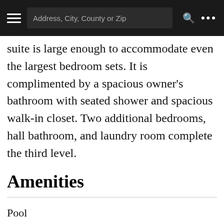Address, City, County or Zip
suite is large enough to accommodate even the largest bedroom sets. It is complimented by a spacious owner's bathroom with seated shower and spacious walk-in closet. Two additional bedrooms, hall bathroom, and laundry room complete the third level.
Amenities
Pool
Trail System